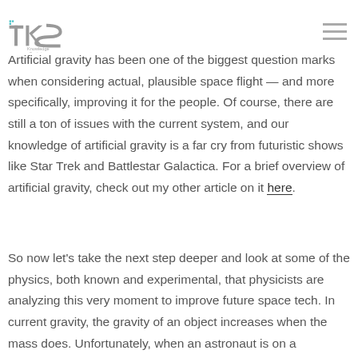TKS — The Knowledge Society (logo with hamburger menu)
Artificial gravity has been one of the biggest question marks when considering actual, plausible space flight — and more specifically, improving it for the people. Of course, there are still a ton of issues with the current system, and our knowledge of artificial gravity is a far cry from futuristic shows like Star Trek and Battlestar Galactica. For a brief overview of artificial gravity, check out my other article on it here.
So now let's take the next step deeper and look at some of the physics, both known and experimental, that physicists are analyzing this very moment to improve future space tech. In current gravity, the gravity of an object increases when the mass does. Unfortunately, when an astronaut is on a spaceship, there isn't enough